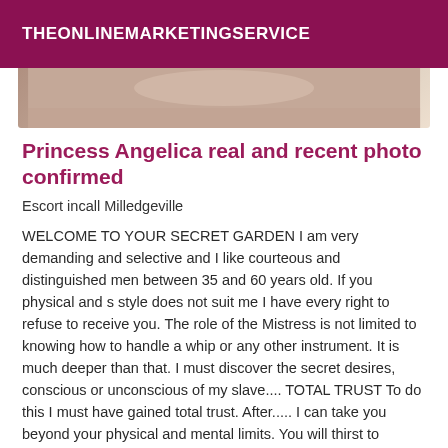THEONLINEMARKETINGSERVICE
[Figure (photo): Partial cropped photo strip showing a person, appearing at the top of the article]
Princess Angelica real and recent photo confirmed
Escort incall Milledgeville
WELCOME TO YOUR SECRET GARDEN I am very demanding and selective and I like courteous and distinguished men between 35 and 60 years old. If you physical and s style does not suit me I have every right to refuse to receive you. The role of the Mistress is not limited to knowing how to handle a whip or any other instrument. It is much deeper than that. I must discover the secret desires, conscious or unconscious of my slave.... TOTAL TRUST To do this I must have gained total trust. After..... I can take you beyond your physical and mental limits. You will thirst to discover the hidden, or unknown pleasure of the world of Domination. It is in a way a total alibi for the slave to let himself go to the